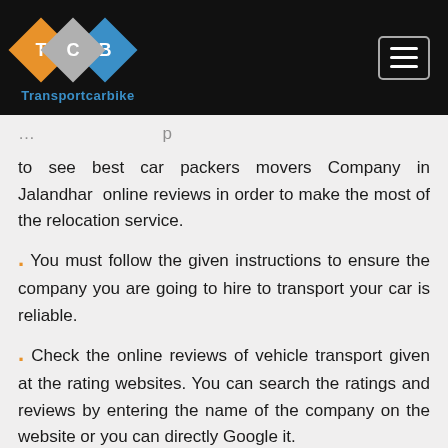Transportcarbike
to see best car packers movers Company in Jalandhar online reviews in order to make the most of the relocation service.
. You must follow the given instructions to ensure the company you are going to hire to transport your car is reliable.
. Check the online reviews of vehicle transport given at the rating websites. You can search the ratings and reviews by entering the name of the company on the website or you can directly Google it.
.To get genuine reviews and reasonable professional Auto car packers movers in Jalandhar,